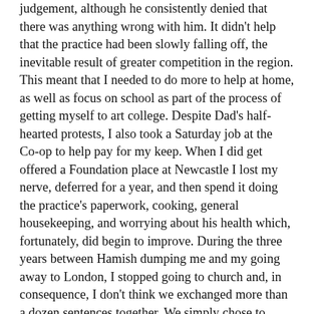judgement, although he consistently denied that there was anything wrong with him. It didn't help that the practice had been slowly falling off, the inevitable result of greater competition in the region. This meant that I needed to do more to help at home, as well as focus on school as part of the process of getting myself to art college. Despite Dad's half-hearted protests, I also took a Saturday job at the Co-op to help pay for my keep. When I did get offered a Foundation place at Newcastle I lost my nerve, deferred for a year, and then spend it doing the practice's paperwork, cooking, general housekeeping, and worrying about his health which, fortunately, did begin to improve. During the three years between Hamish dumping me and my going away to London, I stopped going to church and, in consequence, I don't think we exchanged more than a dozen sentences together. We simply chose to politely ignore each other. It was horrible but, despite feeling increasingly abandoned and lost, I passed my Foundation year and was offered an interview at Chelsea School of Art.